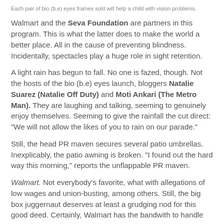Each pair of bio (b.e) eyes frames sold will help a child with vision problems.
Walmart and the Seva Foundation are partners in this program. This is what the latter does to make the world a better place. All in the cause of preventing blindness. Incidentally, spectacles play a huge role in sight retention.
A light rain has begun to fall. No one is fazed, though. Not the hosts of the bio (b.e) eyes launch, bloggers Natalie Suarez (Natalie Off Duty) and Moti Ankari (The Metro Man). They are laughing and talking, seeming to genuinely enjoy themselves. Seeming to give the rainfall the cut direct: "We will not allow the likes of you to rain on our parade."
Still, the head PR maven secures several patio umbrellas. Inexplicably, the patio awning is broken. "I found out the hard way this morning," reports the unflappable PR maven.
Walmart. Not everybody's favorite, what with allegations of low wages and union-busting, among others. Still, the big box juggernaut deserves at least a grudging nod for this good deed. Certainly, Walmart has the bandwith to handle